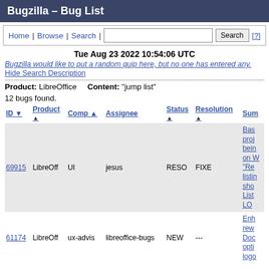Bugzilla – Bug List
Home | Browse | Search | [?]
Tue Aug 23 2022 10:54:06 UTC
Bugzilla would like to put a random quip here, but no one has entered any. Hide Search Description
Product: LibreOffice    Content: "jump list"
12 bugs found.
| ID ▼ | Product | Comp ▲ | Assignee | Status | Resolution | Sum |
| --- | --- | --- | --- | --- | --- | --- |
| 69915 | LibreOff | UI | jesus | RESO | FIXE | Bas proj bein on W "Re listin sho List LO |
| 61174 | LibreOff | ux-advis | libreoffice-bugs | NEW | --- | Enh rew Doc opti logo |